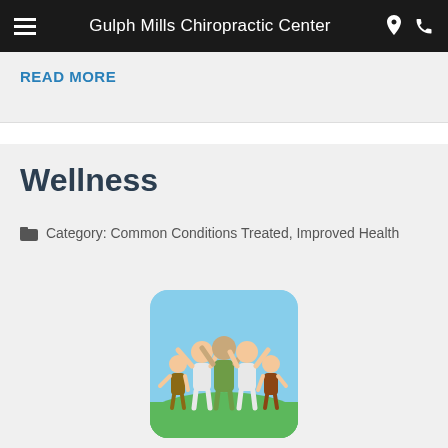Gulph Mills Chiropractic Center
READ MORE
Wellness
Category: Common Conditions Treated, Improved Health
[Figure (photo): A happy family of five with arms raised outdoors on grass with blue sky background]
Chiropractic is so much more than simply a means of relieving pain. Ultimately, the goal of chiropractic treatment is to restore the body to its natural state of optimal health. Regular chiropractic care, eating a